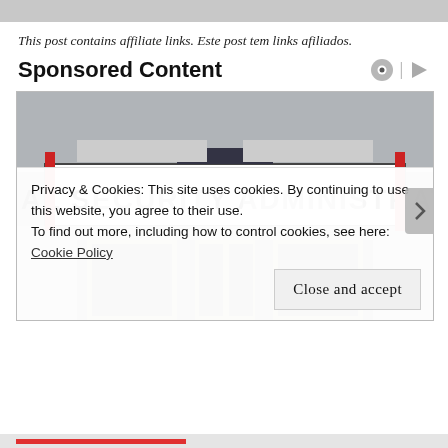This post contains affiliate links. Este post tem links afiliados.
Sponsored Content
[Figure (photo): Photograph of the exterior of a Social Security Administration building. A large banner sign reads 'SOCIAL SECURITY ADMINISTRATION' in bold black letters on white background. Below are glass entrance doors with metal frames. Red pillars flank the sign.]
Privacy & Cookies: This site uses cookies. By continuing to use this website, you agree to their use.
To find out more, including how to control cookies, see here:
Cookie Policy
Close and accept